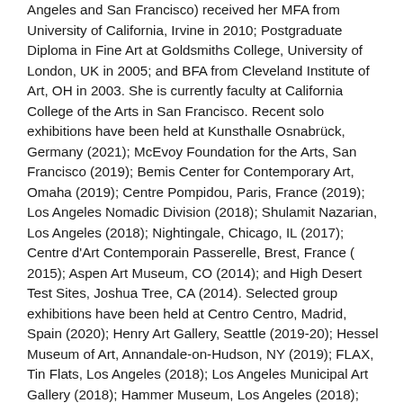Angeles and San Francisco) received her MFA from University of California, Irvine in 2010; Postgraduate Diploma in Fine Art at Goldsmiths College, University of London, UK in 2005; and BFA from Cleveland Institute of Art, OH in 2003. She is currently faculty at California College of the Arts in San Francisco. Recent solo exhibitions have been held at Kunsthalle Osnabrück, Germany (2021); McEvoy Foundation for the Arts, San Francisco (2019); Bemis Center for Contemporary Art, Omaha (2019); Centre Pompidou, Paris, France (2019); Los Angeles Nomadic Division (2018); Shulamit Nazarian, Los Angeles (2018); Nightingale, Chicago, IL (2017); Centre d'Art Contemporain Passerelle, Brest, France ( 2015); Aspen Art Museum, CO (2014); and High Desert Test Sites, Joshua Tree, CA (2014). Selected group exhibitions have been held at Centro Centro, Madrid, Spain (2020); Henry Art Gallery, Seattle (2019-20); Hessel Museum of Art, Annandale-on-Hudson, NY (2019); FLAX, Tin Flats, Los Angeles (2018); Los Angeles Municipal Art Gallery (2018); Hammer Museum, Los Angeles (2018); Garage Contemporary Art Museum, Moscow, Russia (2018); The Drawing Center, New York (2016); Serpentine Gallery, London, UK (2016); and Bergen Council, Norway (2016).